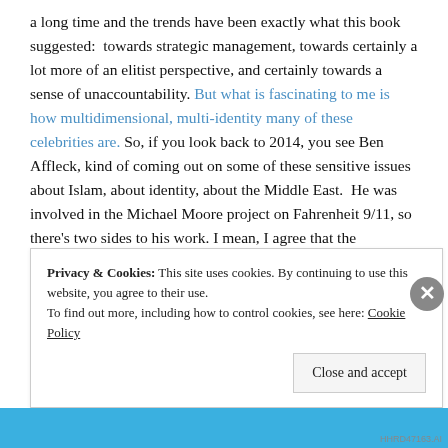a long time and the trends have been exactly what this book suggested:  towards strategic management, towards certainly a lot more of an elitist perspective, and certainly towards a sense of unaccountability. But what is fascinating to me is how multidimensional, multi-identity many of these celebrities are. So, if you look back to 2014, you see Ben Affleck, kind of coming out on some of these sensitive issues about Islam, about identity, about the Middle East.  He was involved in the Michael Moore project on Fahrenheit 9/11, so there's two sides to his work. I mean, I agree that the dominant side is exactly the one that you
Privacy & Cookies: This site uses cookies. By continuing to use this website, you agree to their use.
To find out more, including how to control cookies, see here: Cookie Policy
Close and accept